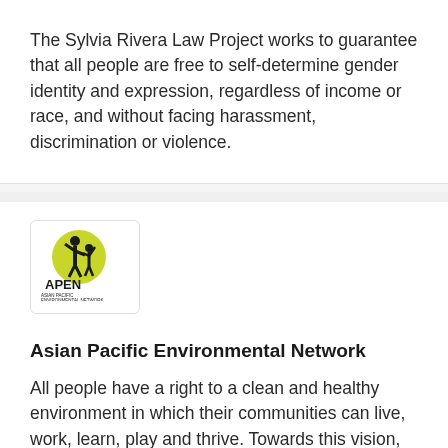The Sylvia Rivera Law Project works to guarantee that all people are free to self-determine gender identity and expression, regardless of income or race, and without facing harassment, discrimination or violence.
[Figure (logo): APEN (Asian Pacific Environmental Network) logo with yellow-green circular background, silhouette of adults and child with raised hands, and text 'APEN ASIAN PACIFIC ENVIRONMENTAL NETWORK' below.]
Asian Pacific Environmental Network
All people have a right to a clean and healthy environment in which their communities can live, work, learn, play and thrive. Towards this vision, APEN brings together a collective voice to develop an alternative agenda for environmental, social and economic justice. Through building an organized movement, we strive to bring fundamental changes to economic and social